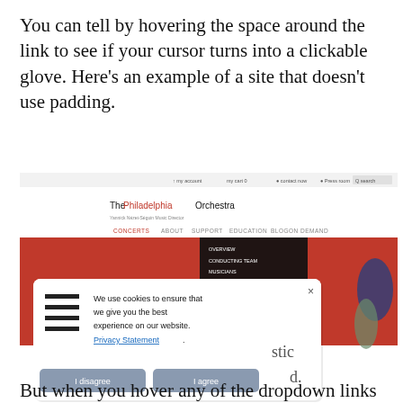You can tell by hovering the space around the link to see if your cursor turns into a clickable glove. Here's an example of a site that doesn't use padding.
[Figure (screenshot): Screenshot of The Philadelphia Orchestra website showing a navigation menu dropdown and a cookie consent popup with 'I disagree' and 'I agree' buttons.]
But when you hover any of the dropdown links